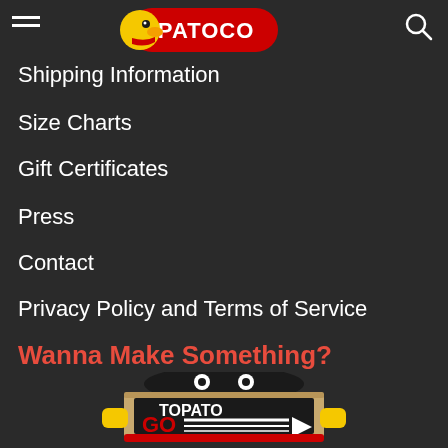[Figure (logo): TOPATOCO logo with duck mascot on red pill-shaped background]
Shipping Information
Size Charts
Gift Certificates
Press
Contact
Privacy Policy and Terms of Service
Wanna Make Something?
[Figure (logo): TOPATOGO logo featuring a robot/character holding a cardboard box, with text TOPATOGO GO and crowdfunding and fulfillment below]